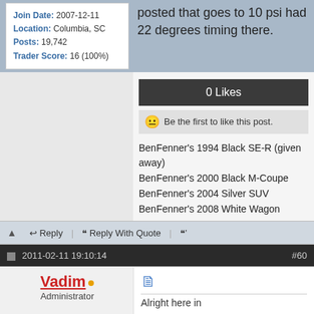Join Date: 2007-12-11
Location: Columbia, SC
Posts: 19,742
Trader Score: 16 (100%)
posted that goes to 10 psi had 22 degrees timing there.
0 Likes
Be the first to like this post.
BenFenner's 1994 Black SE-R (given away)
BenFenner's 2000 Black M-Coupe
BenFenner's 2004 Silver SUV
BenFenner's 2008 White Wagon
Reply | Reply With Quote
2011-02-11 19:10:14   #60
Vadim
Administrator
Alright here in